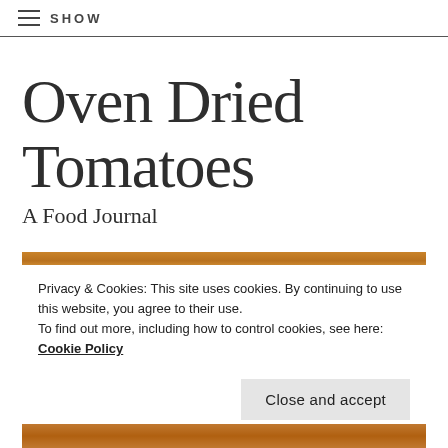SHOW
Oven Dried Tomatoes
A Food Journal
[Figure (photo): Close-up photo of oven dried tomatoes, warm orange and brown tones]
Privacy & Cookies: This site uses cookies. By continuing to use this website, you agree to their use.
To find out more, including how to control cookies, see here: Cookie Policy
Close and accept